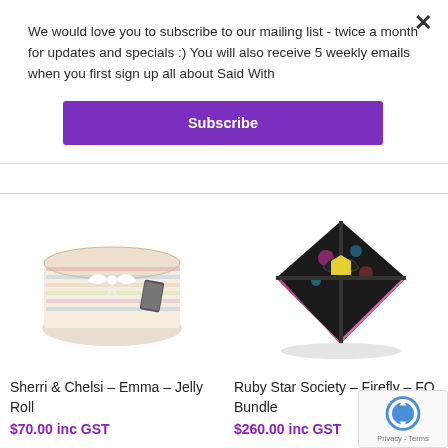We would love you to subscribe to our mailing list - twice a month for updates and specials :) You will also receive 5 weekly emails when you first sign up all about Said With
Subscribe
[Figure (photo): Jelly roll fabric bundle with white bow on white/cream background]
[Figure (photo): Ruby Star Society Firefly FQ Bundle - black fabric bundle with ribbon bow]
Sherri & Chelsi – Emma – Jelly Roll
$70.00 inc GST
Ruby Star Society – Firefly – FQ Bundle
$260.00 inc GST